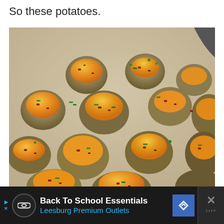So these potatoes.
[Figure (photo): Overhead close-up photo of twice-baked mini stuffed potatoes topped with melted orange cheddar cheese, crumbled bacon pieces, and chopped green chives/scallions, arranged on a light-colored baking sheet.]
Back To School Essentials Leesburg Premium Outlets